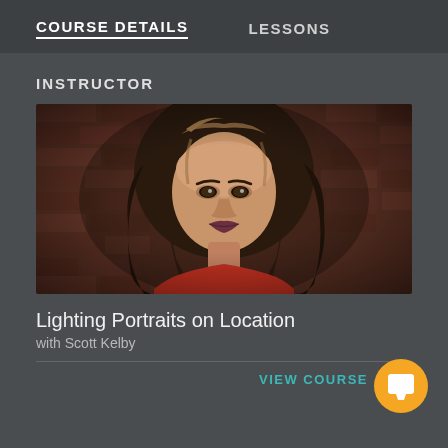COURSE DETAILS    LESSONS
INSTRUCTOR
[Figure (photo): Portrait photo of a woman with wavy brown hair with highlights, wearing a red top, posed against a brick wall background]
Lighting Portraits on Location
with Scott Kelby
VIEW COURSE